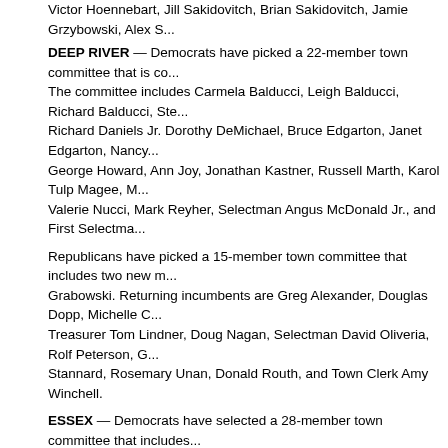Victor Hoennebart, Jill Sakidovitch, Brian Sakidovitch, Jamie Grzybowski, Alex S...
DEEP RIVER — Democrats have picked a 22-member town committee that is co... The committee includes Carmela Balducci, Leigh Balducci, Richard Balducci, Ste... Richard Daniels Jr. Dorothy DeMichael, Bruce Edgarton, Janet Edgarton, Nancy... George Howard, Ann Joy, Jonathan Kastner, Russell Marth, Karol Tulp Magee, M... Valerie Nucci, Mark Reyher, Selectman Angus McDonald Jr., and First Selectma...
Republicans have picked a 15-member town committee that includes two new m... Grabowski. Returning incumbents are Greg Alexander, Douglas Dopp, Michelle C... Treasurer Tom Lindner, Doug Nagan, Selectman David Oliveria, Rolf Peterson, G... Stannard, Rosemary Unan, Donald Routh, and Town Clerk Amy Winchell.
ESSEX — Democrats have selected a 28-member town committee that includes... French, Ellen Pfarr and Yolanda Lowe. Returning incumbents are John Bairos, M... former First Selectman Carl Ellison, Lois Ely, Geraldine Ficarra, Town Treasurer J... Collector Megan Haskins, Campbell Hudson, Jonathan James,,Louise Ketron, Lo... Miller, First Selectman Norman Needleman, Selectwoman Stacia Llibby, Lon Eei... Ellen Pleva, James Spallone, John Stannard, Claire Tiernan ,Kathleen Tucker, Al... Shipman.
Republicans have picked a 25-member town committee that includes five new m... Mary Louise Till, Keith Russell, Lynn Herlihy, John Frese, and Phil Beckman, the... board of selectmen in the 2015 town election. Returning GOP incumbents are S... Herb Clark, Edward Cook, Peter Decker, Ann Dixon, Selectman Bruce Glowac, R... Adrienne Forrest, John Heiser, James Hill, Jerri MacMillian, Bruce MacMillian, To...